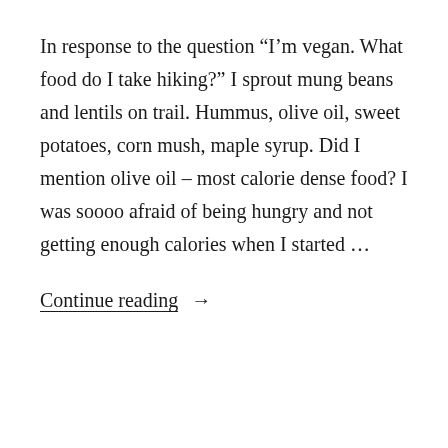In response to the question “I’m vegan. What food do I take hiking?” I sprout mung beans and lentils on trail. Hummus, olive oil, sweet potatoes, corn mush, maple syrup. Did I mention olive oil – most calorie dense food? I was soooo afraid of being hungry and not getting enough calories when I started …
Continue reading →